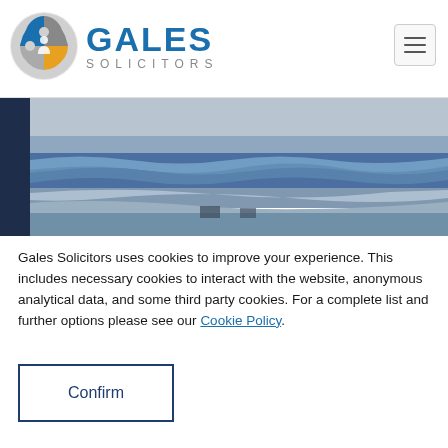[Figure (logo): Gales Solicitors logo with puzzle piece circle icon and company name in blue]
[Figure (photo): Ocean beach hero image showing waves and shore in blue tones]
Gales Solicitors uses cookies to improve your experience. This includes necessary cookies to interact with the website, anonymous analytical data, and some third party cookies. For a complete list and further options please see our Cookie Policy.
Confirm